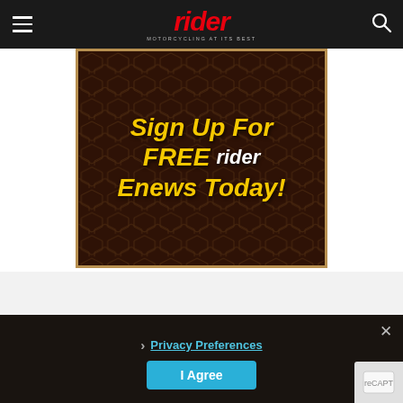rider — MOTORCYCLING AT ITS BEST
[Figure (infographic): Dark brown honeycomb-textured advertisement banner with text: Sign Up For FREE rider Enews Today! Yellow bold italic text with white 'rider' logo inline. Border with tan/gold color.]
Privacy Preferences
I Agree